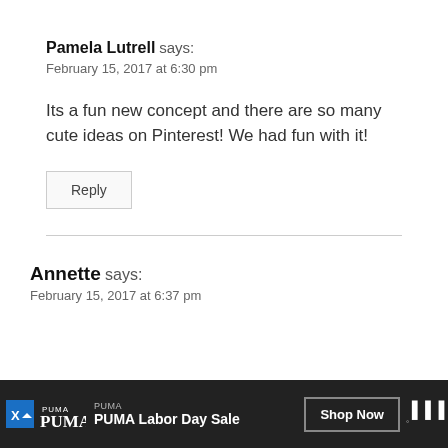Pamela Lutrell says:
February 15, 2017 at 6:30 pm
Its a fun new concept and there are so many cute ideas on Pinterest! We had fun with it!
Reply
Annette says:
February 15, 2017 at 6:37 pm
[Figure (screenshot): PUMA Labor Day Sale advertisement banner with Shop Now button at the bottom of the page]